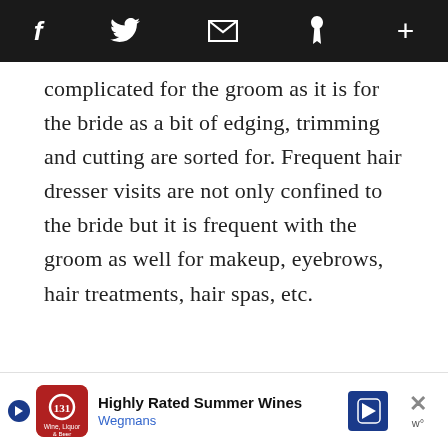[Social share bar: Facebook, Twitter, Email, Pinterest, More]
complicated for the groom as it is for the bride as a bit of edging, trimming and cutting are sorted for. Frequent hair dresser visits are not only confined to the bride but it is frequent with the groom as well for makeup, eyebrows, hair treatments, hair spas, etc.
[Figure (photo): Barber shop tools including brushes, combs and a shaving brush on a wooden counter with a round mirror in the background]
Ad: Highly Rated Summer Wines – Wegmans